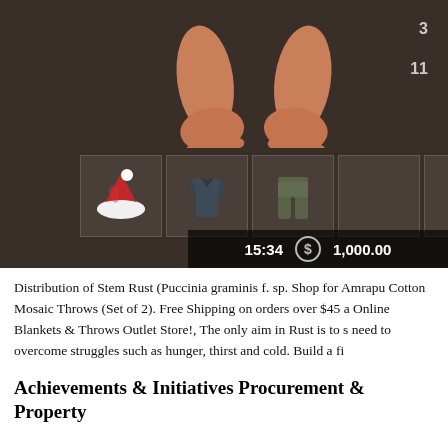[Figure (screenshot): Screenshot of a game UI (likely Rust) showing a character's bare feet at the top, an inventory row with a Santa hat, dark shirt, and olive/green pants in item slots, and a status bar at the bottom showing time '15:34', a dollar sign icon, and '1,000.00'. Numbers '3' and '11' appear on the right side of the screen.]
Distribution of Stem Rust (Puccinia graminis f. sp. Shop for Amrapu Cotton Mosaic Throws (Set of 2). Free Shipping on orders over $45 a Online Blankets & Throws Outlet Store!, The only aim in Rust is to s need to overcome struggles such as hunger, thirst and cold. Build a fi
Achievements & Initiatives Procurement & Property